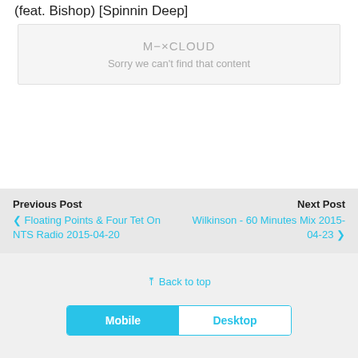(feat. Bishop) [Spinnin Deep]
[Figure (other): Mixcloud embedded player placeholder showing 'M-XCLOUD' logo and 'Sorry we can't find that content' message]
Previous Post
‹ Floating Points & Four Tet On NTS Radio 2015-04-20
Next Post
Wilkinson - 60 Minutes Mix 2015-04-23 ›
⇪ Back to top
Mobile  Desktop